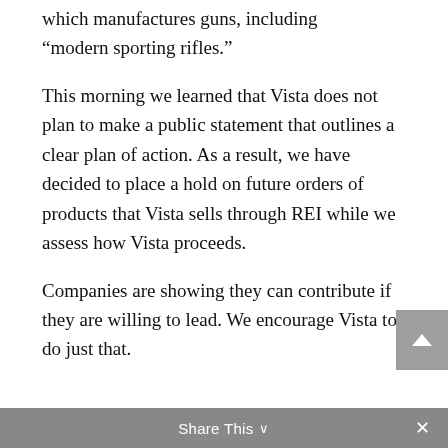which manufactures guns, including “modern sporting rifles.”
This morning we learned that Vista does not plan to make a public statement that outlines a clear plan of action. As a result, we have decided to place a hold on future orders of products that Vista sells through REI while we assess how Vista proceeds.
Companies are showing they can contribute if they are willing to lead. We encourage Vista to do just that.
Share This  ∨  ×